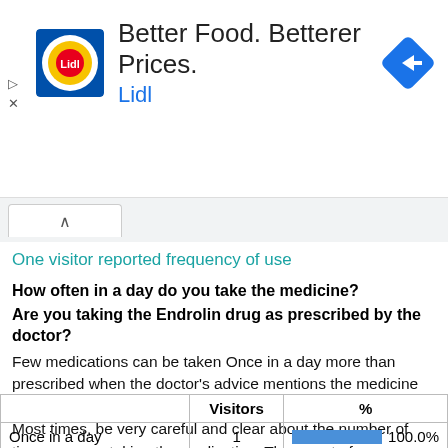[Figure (other): Lidl advertisement banner: Better Food. Betterer Prices. Lidl logo and navigation arrow icon.]
One visitor reported frequency of use
How often in a day do you take the medicine?
Are you taking the Endrolin drug as prescribed by the doctor?
Few medications can be taken Once in a day more than prescribed when the doctor's advice mentions the medicine can be taken according to frequency or severity of symptoms. Most times, be very careful and clear about the number of times you are taking the medication. The report of sdrugs.com website users about the frequency of taking the drug Endrolin is mentioned below.
|  | Visitors | % |
| --- | --- | --- |
| Once in a day | 1 | 100.0% |